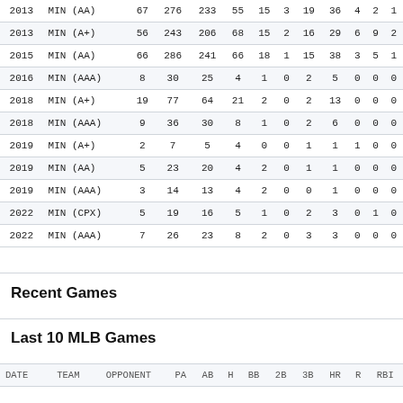| Year | Team | G | PA | AB | H | 2B | 3B | HR | BB | R | RBI | SB |
| --- | --- | --- | --- | --- | --- | --- | --- | --- | --- | --- | --- | --- |
| 2013 | MIN (AA) | 67 | 276 | 233 | 55 | 15 | 3 | 19 | 36 | 4 | 2 | 1 |
| 2013 | MIN (A+) | 56 | 243 | 206 | 68 | 15 | 2 | 16 | 29 | 6 | 9 | 2 |
| 2015 | MIN (AA) | 66 | 286 | 241 | 66 | 18 | 1 | 15 | 38 | 3 | 5 | 1 |
| 2016 | MIN (AAA) | 8 | 30 | 25 | 4 | 1 | 0 | 2 | 5 | 0 | 0 | 0 |
| 2018 | MIN (A+) | 19 | 77 | 64 | 21 | 2 | 0 | 2 | 13 | 0 | 0 | 0 |
| 2018 | MIN (AAA) | 9 | 36 | 30 | 8 | 1 | 0 | 2 | 6 | 0 | 0 | 0 |
| 2019 | MIN (A+) | 2 | 7 | 5 | 4 | 0 | 0 | 1 | 1 | 1 | 0 | 0 |
| 2019 | MIN (AA) | 5 | 23 | 20 | 4 | 2 | 0 | 1 | 1 | 0 | 0 | 0 |
| 2019 | MIN (AAA) | 3 | 14 | 13 | 4 | 2 | 0 | 0 | 1 | 0 | 0 | 0 |
| 2022 | MIN (CPX) | 5 | 19 | 16 | 5 | 1 | 0 | 2 | 3 | 0 | 1 | 0 |
| 2022 | MIN (AAA) | 7 | 26 | 23 | 8 | 2 | 0 | 3 | 3 | 0 | 0 | 0 |
Recent Games
Last 10 MLB Games
| DATE | TEAM | OPPONENT | PA | AB | H | BB | 2B | 3B | HR | R | RBI |
| --- | --- | --- | --- | --- | --- | --- | --- | --- | --- | --- | --- |